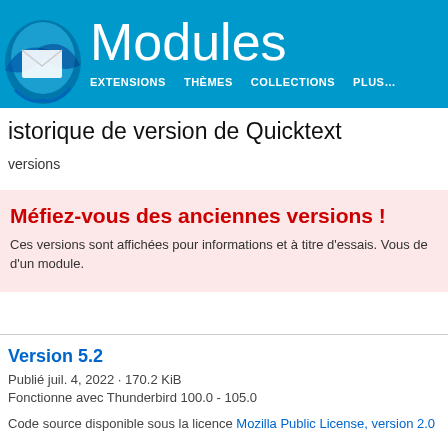[Figure (logo): Thunderbird bird logo — blue swirl with white envelope icon]
Modules
EXTENSIONS   THÈMES   COLLECTIONS   PLUS…
Historique de version de Quicktext
versions
Méfiez-vous des anciennes versions !
Ces versions sont affichées pour informations et à titre d'essais. Vous de d'un module.
Version 5.2
Publié juil. 4, 2022 · 170.2 KiB
Fonctionne avec Thunderbird 100.0 - 105.0
Code source disponible sous la licence Mozilla Public License, version 2.0